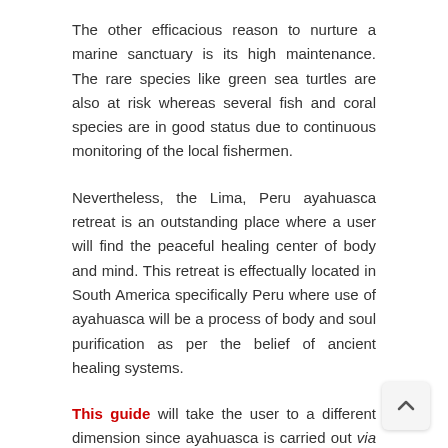The other efficacious reason to nurture a marine sanctuary is its high maintenance. The rare species like green sea turtles are also at risk whereas several fish and coral species are in good status due to continuous monitoring of the local fishermen.
Nevertheless, the Lima, Peru ayahuasca retreat is an outstanding place where a user will find the peaceful healing center of body and mind. This retreat is effectually located in South America specifically Peru where use of ayahuasca will be a process of body and soul purification as per the belief of ancient healing systems.
This guide will take the user to a different dimension since ayahuasca is carried out via a ceremony and usually at night with a group of people. The healer will prepare the brew and a reliable center for retreat will primarily check the health condition of the user well and will choose the right dose effectually meets his or her body needs.